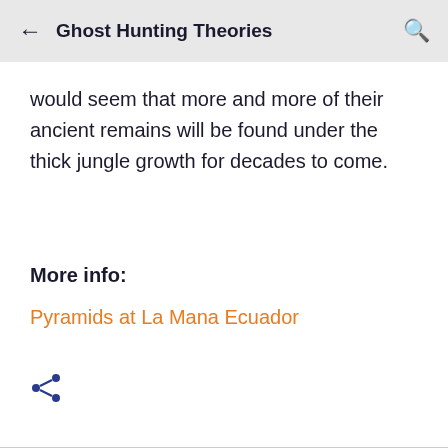Ghost Hunting Theories
would seem that more and more of their ancient remains will be found under the thick jungle growth for decades to come.
More info:
Pyramids at La Mana Ecuador